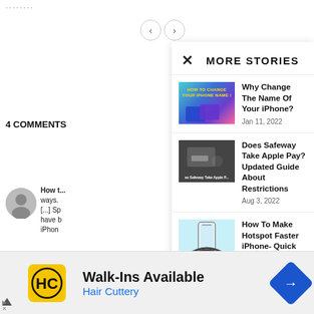...
4 COMMENTS
How t... ways. [...] Sp have b iPhon
Reply
How T Dec 19...
MORE STORIES
Why Change The Name Of Your iPhone?
Jan 11, 2022
Does Safeway Take Apple Pay? Updated Guide About Restrictions
Aug 3, 2022
How To Make Hotspot Faster iPhone- Quick and easy steps
Walk-Ins Available
Hair Cuttery